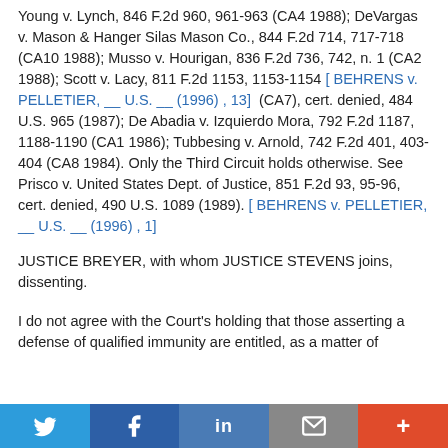Young v. Lynch, 846 F.2d 960, 961-963 (CA4 1988); DeVargas v. Mason & Hanger Silas Mason Co., 844 F.2d 714, 717-718 (CA10 1988); Musso v. Hourigan, 836 F.2d 736, 742, n. 1 (CA2 1988); Scott v. Lacy, 811 F.2d 1153, 1153-1154 [BEHRENS v. PELLETIER, __ U.S. __ (1996) , 13] (CA7), cert. denied, 484 U.S. 965 (1987); De Abadia v. Izquierdo Mora, 792 F.2d 1187, 1188-1190 (CA1 1986); Tubbesing v. Arnold, 742 F.2d 401, 403-404 (CA8 1984). Only the Third Circuit holds otherwise. See Prisco v. United States Dept. of Justice, 851 F.2d 93, 95-96, cert. denied, 490 U.S. 1089 (1989). [BEHRENS v. PELLETIER, __ U.S. __ (1996) , 1]
JUSTICE BREYER, with whom JUSTICE STEVENS joins, dissenting.
I do not agree with the Court's holding that those asserting a defense of qualified immunity are entitled, as a matter of